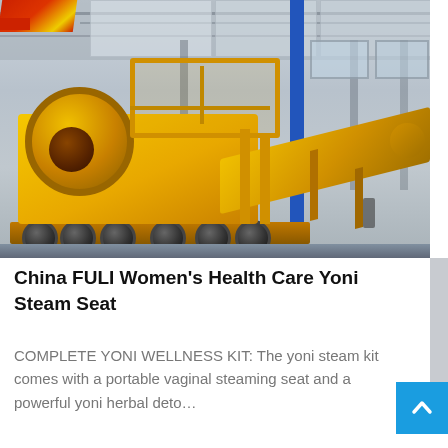[Figure (photo): Large yellow industrial mobile crushing/screening machine on a trailer inside a factory/warehouse building with steel girder roof structure and a red crane beam visible at top left. A blue vertical pillar is visible in the background.]
China FULI Women's Health Care Yoni Steam Seat
COMPLETE YONI WELLNESS KIT: The yoni steam kit comes with a portable vaginal steaming seat and a powerful yoni herbal deto…